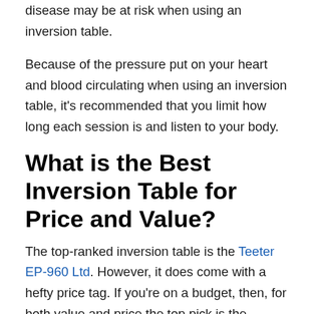disease may be at risk when using an inversion table.
Because of the pressure put on your heart and blood circulating when using an inversion table, it's recommended that you limit how long each session is and listen to your body.
What is the Best Inversion Table for Price and Value?
The top-ranked inversion table is the Teeter EP-960 Ltd. However, it does come with a hefty price tag. If you're on a budget, then, for both value and price the top pick is the Innova Heavy Duty Inversion Table with an adjustable headrest and a